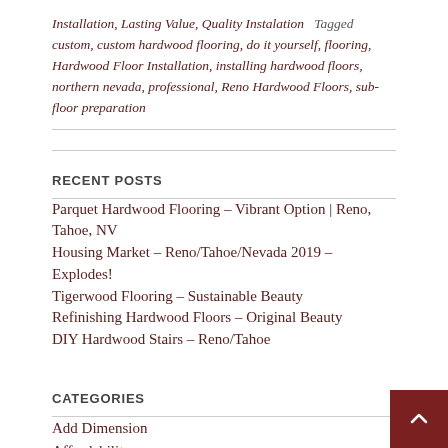Installation, Lasting Value, Quality Instalation   Tagged custom, custom hardwood flooring, do it yourself, flooring, Hardwood Floor Installation, installing hardwood floors, northern nevada, professional, Reno Hardwood Floors, sub-floor preparation
RECENT POSTS
Parquet Hardwood Flooring – Vibrant Option | Reno, Tahoe, NV
Housing Market – Reno/Tahoe/Nevada 2019 – Explodes!
Tigerwood Flooring – Sustainable Beauty
Refinishing Hardwood Floors – Original Beauty
DIY Hardwood Stairs – Reno/Tahoe
CATEGORIES
Add Dimension
Affordability